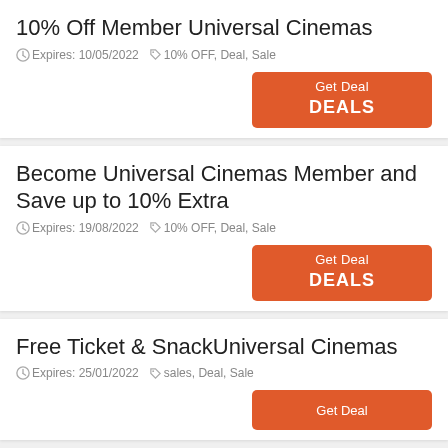10% Off Member Universal Cinemas
Expires: 10/05/2022  10% OFF, Deal, Sale
Get Deal DEALS
Become Universal Cinemas Member and Save up to 10% Extra
Expires: 19/08/2022  10% OFF, Deal, Sale
Get Deal DEALS
Free Ticket & SnackUniversal Cinemas
Expires: 25/01/2022  sales, Deal, Sale
Get Deal